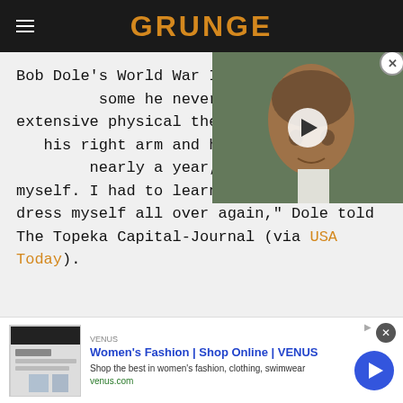GRUNGE
Bob Dole's World War II wounds were severe — some he never recovered from. Despite extensive physical therapy, he lost use of his right arm and hand. Daily life ... for nearly a year, I couldn't feed myself. I had to learn to walk and dress myself all over again," Dole told The Topeka Capital-Journal (via USA Today).
[Figure (photo): Video thumbnail showing a man with curly hair outdoors, with a play button overlay]
[Figure (screenshot): Advertisement for VENUS Women's Fashion online shop showing website screenshot and model image]